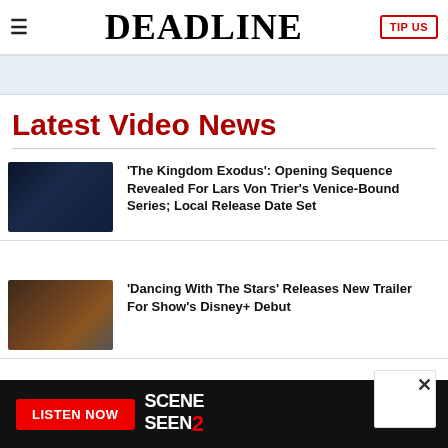DEADLINE | TIP US
Latest Video News
[Figure (photo): Dark nighttime city street scene with lights]
'The Kingdom Exodus': Opening Sequence Revealed For Lars Von Trier's Venice-Bound Series; Local Release Date Set
[Figure (photo): Woman in gold/brown outfit against moody background]
'Dancing With The Stars' Releases New Trailer For Show's Disney+ Debut
[Figure (photo): The Circus show - Statue of Liberty with dark background]
Showtime's 'The Circus' Season 7 Gets September Premiere Date; Watch Trailer
[Figure (screenshot): Ad banner: LISTEN NOW button and SCENE SEEN 2 logo on black background]